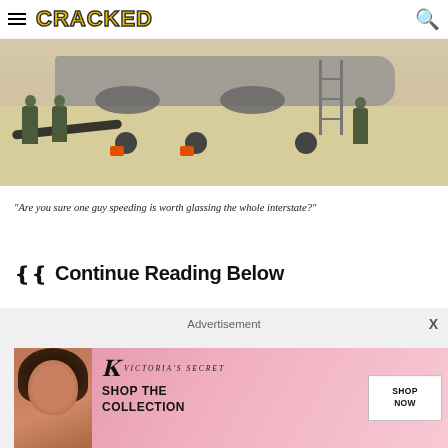CRACKED
[Figure (photo): Ground crew personnel working around a military aircraft on a tarmac/flight line, with hose/cable on the ground and wheel chocks visible. Personnel wearing camouflage uniforms.]
"Are you sure one guy speeding is worth glassing the whole interstate?"
Continue Reading Below
[Figure (other): Advertisement placeholder with 'Advertisement' label and close button X, containing a Victoria's Secret advertisement banner with model image, VS logo, 'SHOP THE COLLECTION' text, and 'SHOP NOW' button.]